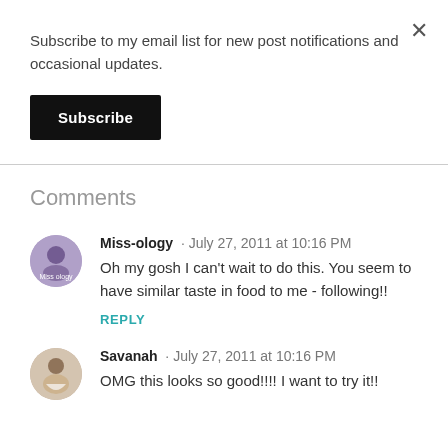Subscribe to my email list for new post notifications and occasional updates.
Subscribe
Comments
Miss-ology · July 27, 2011 at 10:16 PM
Oh my gosh I can't wait to do this. You seem to have similar taste in food to me - following!!
REPLY
Savanah · July 27, 2011 at 10:16 PM
OMG this looks so good!!!! I want to try it!!